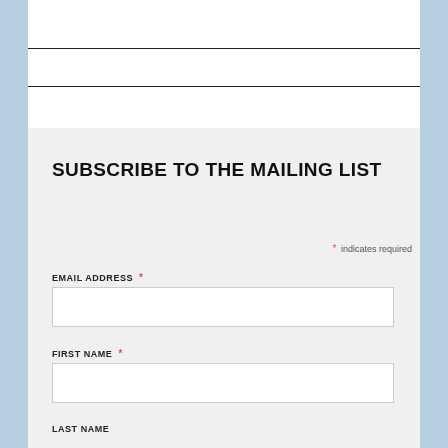SUBSCRIBE TO THE MAILING LIST
* indicates required
EMAIL ADDRESS *
FIRST NAME *
LAST NAME